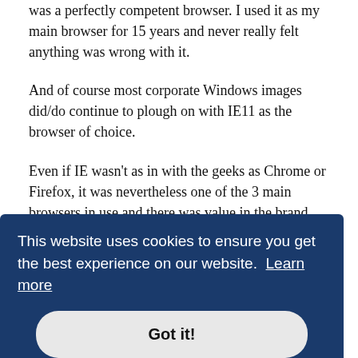was a perfectly competent browser. I used it as my main browser for 15 years and never really felt anything was wrong with it.
And of course most corporate Windows images did/do continue to plough on with IE11 as the browser of choice.
Even if IE wasn't as in with the geeks as Chrome or Firefox, it was nevertheless one of the 3 main browsers in use and there was value in the brand. Which they threw away with Edge.
Even if there was a technical argument for performing a ground-up replacement free of legacy code, marketing failed to do their job on this one. IE users (and corporate IT
[Figure (screenshot): Cookie consent banner with dark blue background. Text reads: 'This website uses cookies to ensure you get the best experience on our website. Learn more'. Below is a button labeled 'Got it!']
that Microsoft deemed updating IE to newer versions to